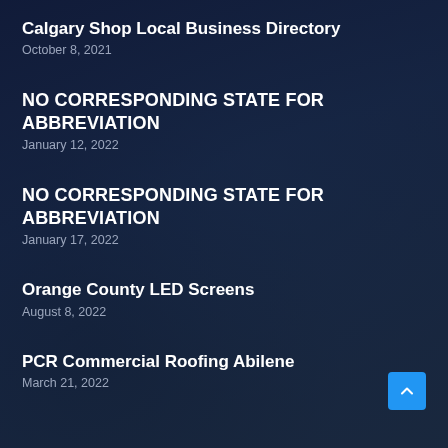Calgary Shop Local Business Directory
October 8, 2021
NO CORRESPONDING STATE FOR ABBREVIATION
January 12, 2022
NO CORRESPONDING STATE FOR ABBREVIATION
January 17, 2022
Orange County LED Screens
August 8, 2022
PCR Commercial Roofing Abilene
March 21, 2022